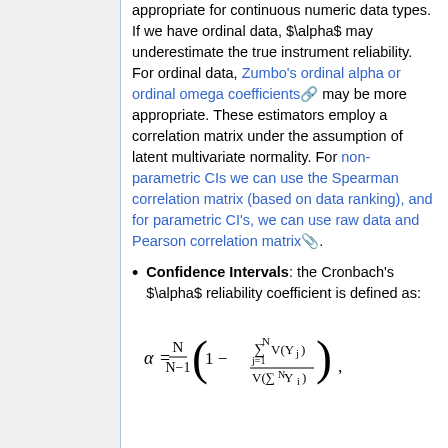appropriate for continuous numeric data types. If we have ordinal data, $\alpha$ may underestimate the true instrument reliability. For ordinal data, Zumbo's ordinal alpha or ordinal omega coefficients may be more appropriate. These estimators employ a correlation matrix under the assumption of latent multivariate normality. For non-parametric CIs we can use the Spearman correlation matrix (based on data ranking), and for parametric CI's, we can use raw data and Pearson correlation matrix.
Confidence Intervals: the Cronbach's $\alpha$ reliability coefficient is defined as: